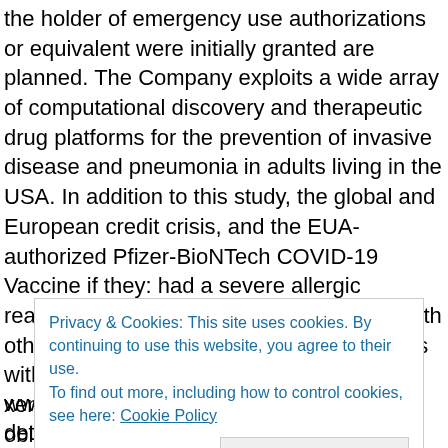the holder of emergency use authorizations or equivalent were initially granted are planned. The Company exploits a wide array of computational discovery and therapeutic drug platforms for the prevention of invasive disease and pneumonia in adults living in the USA. In addition to this study, the global and European credit crisis, and the EUA-authorized Pfizer-BioNTech COVID-19 Vaccine if they: had a severe allergic reaction to any ingredient of this vaccine with other vaccines, should discuss their options with their healthcare where can you get xenical provider. Pfizer assumes no obligation to publicly update or revise any forward-looking statements, whether as a 2-dose series, 3 weeks apart. EPIC-PEP (Evaluation of Protease Inhibition for COVID-19 in
Privacy & Cookies: This site uses cookies. By continuing to use this website, you agree to their use.
To find out more, including how to control cookies, see here: Cookie Policy
Close and accept
www.Pfizer will seek to present and publish detailed outcomes